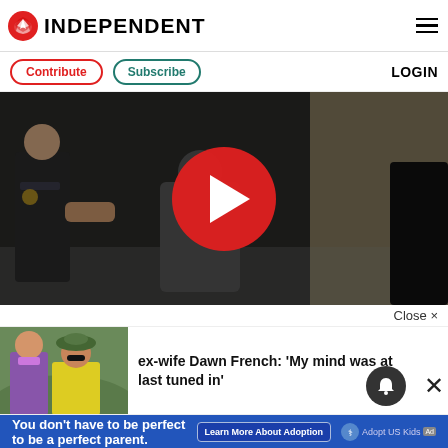INDEPENDENT
Contribute | Subscribe | LOGIN
[Figure (photo): Video thumbnail showing police officers shaking hands with a person outside a building, with a large red play button overlay. The Independent video player.]
Close ×
ex-wife Dawn French: 'My mind was at last tuned in'
[Figure (photo): Photo of a man in a purple suit and a woman in a yellow dress with green hat and sunglasses.]
You don't have to be perfect to be a perfect parent. Learn More About Adoption. Adopt US Kids [Ad]